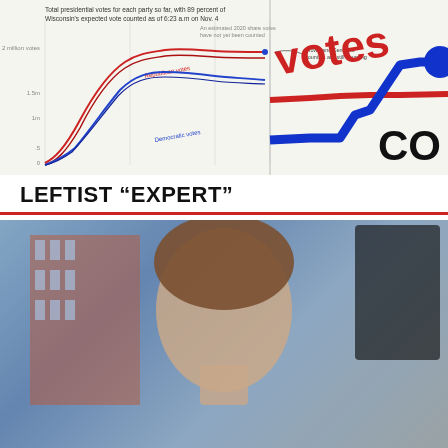[Figure (screenshot): Screenshot of a New York Times interactive chart showing total presidential votes for each party in Wisconsin, with 89 percent of votes counted as of 6:23 a.m. on Nov. 4. Shows Republican votes (red line) and Democratic votes (blue line) over time. The right portion is zoomed in showing the final step-up in votes, with a large blue dot at the end of the blue line and the word 'votes' in red and 'CO' partially visible. Annotation reads 'Brown and Kenosha counties are still counting.']
LEFTIST “EXPERT”
[Figure (screenshot): Screenshot of a video or web page showing a young woman (Greta Thunberg) on screen, with a cookie consent overlay dialog in the center reading: 'By continuing to use the site, you agree to the use of cookies. more information' and an Accept button.]